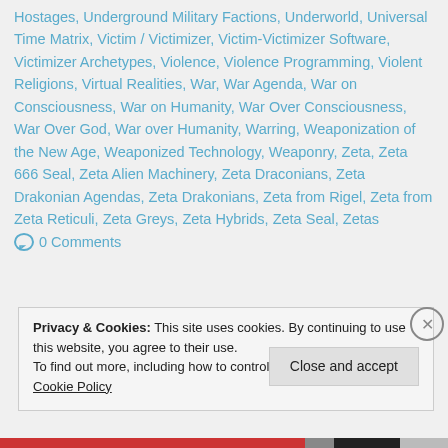Hostages, Underground Military Factions, Underworld, Universal Time Matrix, Victim / Victimizer, Victim-Victimizer Software, Victimizer Archetypes, Violence, Violence Programming, Violent Religions, Virtual Realities, War, War Agenda, War on Consciousness, War on Humanity, War Over Consciousness, War Over God, War over Humanity, Warring, Weaponization of the New Age, Weaponized Technology, Weaponry, Zeta, Zeta 666 Seal, Zeta Alien Machinery, Zeta Draconians, Zeta Drakonian Agendas, Zeta Drakonians, Zeta from Rigel, Zeta from Zeta Reticuli, Zeta Greys, Zeta Hybrids, Zeta Seal, Zetas  ○ 0 Comments
Privacy & Cookies: This site uses cookies. By continuing to use this website, you agree to their use. To find out more, including how to control cookies, see here: Cookie Policy